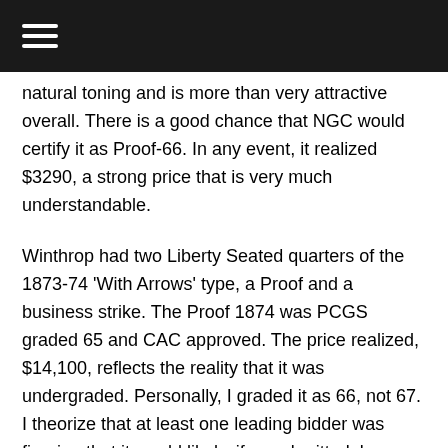☰
natural toning and is more than very attractive overall. There is a good chance that NGC would certify it as Proof-66. In any event, it realized $3290, a strong price that is very much understandable.
Winthrop had two Liberty Seated quarters of the 1873-74 'With Arrows' type, a Proof and a business strike. The Proof 1874 was PCGS graded 65 and CAC approved. The price realized, $14,100, reflects the reality that it was undergraded. Personally, I graded it as 66, not 67. I theorize that at least one leading bidder was figuring that it would likely, if re-submitted, be certified as 'Proof-66 Cameo,' in which case the $14,100 result would be accurate in a financial sense. Another conceivable outcome is an NGC grade of 67, without a cameo designation, though I contend that it should not be so graded. In any event, this is a high price for an 1874 quarter in a holder that indicates